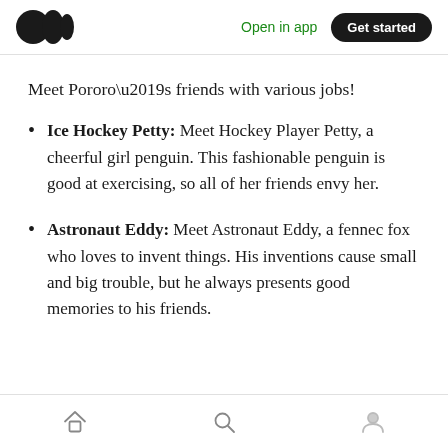Open in app  Get started
Meet Pororo’s friends with various jobs!
Ice Hockey Petty: Meet Hockey Player Petty, a cheerful girl penguin. This fashionable penguin is good at exercising, so all of her friends envy her.
Astronaut Eddy: Meet Astronaut Eddy, a fennec fox who loves to invent things. His inventions cause small and big trouble, but he always presents good memories to his friends.
Home  Search  Profile